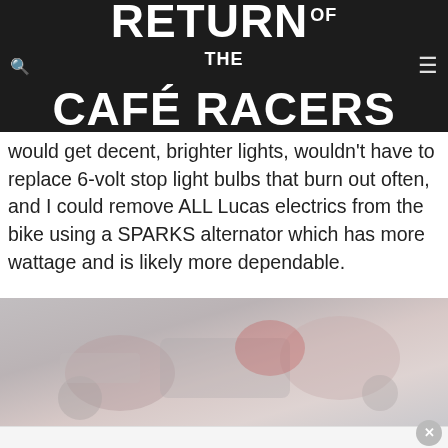RETURN OF THE CAFÉ RACERS
would get decent, brighter lights, wouldn't have to replace 6-volt stop light bulbs that burn out often, and I could remove ALL Lucas electrics from the bike using a SPARKS alternator which has more wattage and is likely more dependable.
[Figure (photo): Faded/washed-out photo of a motorcycle being worked on in a workshop, with mechanical parts visible.]